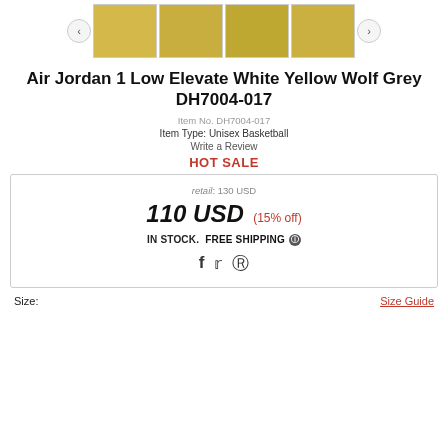[Figure (photo): Row of four sneaker thumbnail images (yellow Air Jordan 1 Low, front, side, top, back views) with left/right navigation arrows]
Air Jordan 1 Low Elevate White Yellow Wolf Grey DH7004-017
Item No. DH7004-017
Item Type: Unisex Basketball
Write a Review
HOT SALE
retail: 130 USD
110 USD (15% off)
IN STOCK.  FREE SHIPPING
Size:
Size Guide